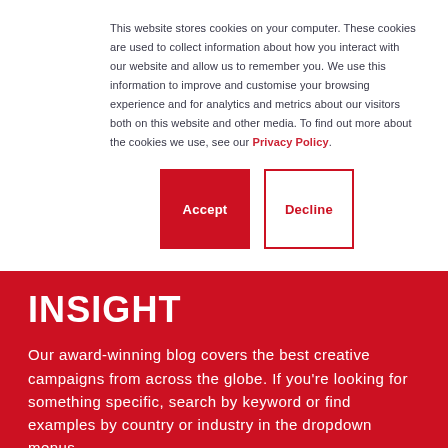This website stores cookies on your computer. These cookies are used to collect information about how you interact with our website and allow us to remember you. We use this information to improve and customise your browsing experience and for analytics and metrics about our visitors both on this website and other media. To find out more about the cookies we use, see our Privacy Policy.
[Figure (screenshot): Accept and Decline cookie buttons. Accept is a filled red button, Decline is outlined red button.]
INSIGHT
Our award-winning blog covers the best creative campaigns from across the globe. If you're looking for something specific, search by keyword or find examples by country or industry in the dropdown menus.
[Figure (screenshot): Search input box with an image placeholder and a SUBSCRIBE label to the right.]